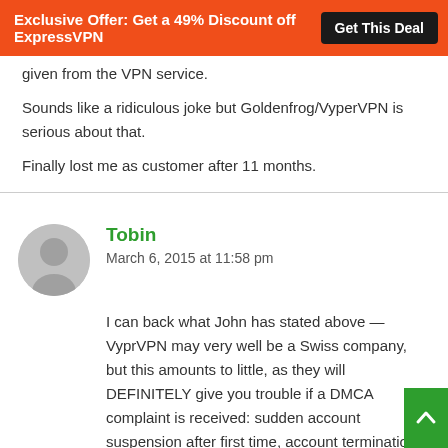Exclusive Offer: Get a 49% Discount off ExpressVPN — Get This Deal
given from the VPN service.
Sounds like a ridiculous joke but Goldenfrog/VyperVPN is serious about that.
Finally lost me as customer after 11 months.
Tobin
March 6, 2015 at 11:58 pm
I can back what John has stated above — VyprVPN may very well be a Swiss company, but this amounts to little, as they will DEFINITELY give you trouble if a DMCA complaint is received: sudden account suspension after first time, account termination after second time.
Aside from this, I can say that their service works generally well in China, where some other VPNs tend